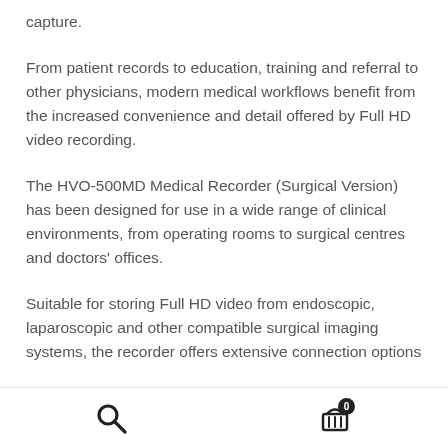capture.
From patient records to education, training and referral to other physicians, modern medical workflows benefit from the increased convenience and detail offered by Full HD video recording.
The HVO-500MD Medical Recorder (Surgical Version) has been designed for use in a wide range of clinical environments, from operating rooms to surgical centres and doctors' offices.
Suitable for storing Full HD video from endoscopic, laparoscopic and other compatible surgical imaging systems, the recorder offers extensive connection options
Search icon and cart icon with badge 0